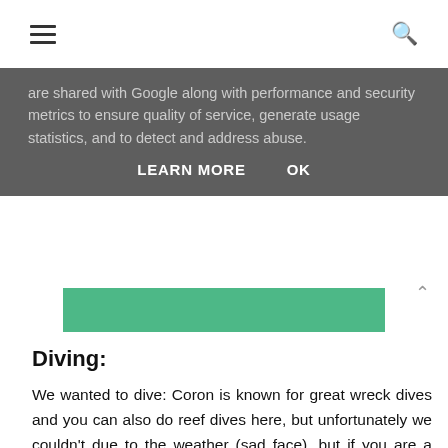☰  🔍
are shared with Google along with performance and security metrics to ensure quality of service, generate usage statistics, and to detect and address abuse.
LEARN MORE   OK
[Figure (photo): Green tinted image strip]
Diving:
We wanted to dive: Coron is known for great wreck dives and you can also do reef dives here, but unfortunately we couldn't due to the weather (sad face), but if you are a diver, I would dive if you can here!
Qualified diver: 3 dives for P3000